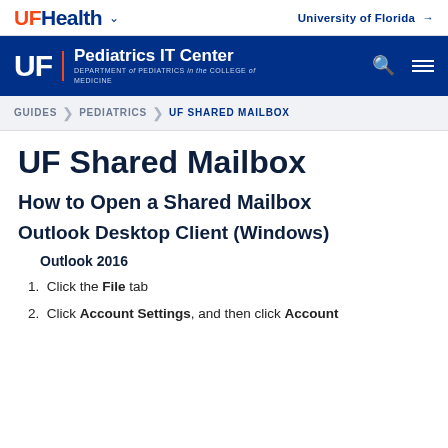UF Health | University of Florida
UF | Pediatrics IT Center | DEPARTMENT of PEDIATRICS in the COLLEGE of MEDICINE
GUIDES > PEDIATRICS > UF SHARED MAILBOX
UF Shared Mailbox
How to Open a Shared Mailbox
Outlook Desktop Client (Windows)
Outlook 2016
1. Click the File tab
2. Click Account Settings, and then click Account